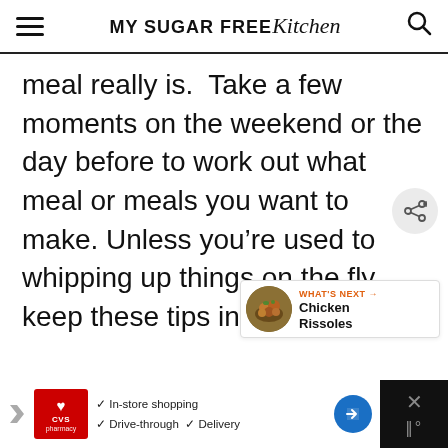MY SUGAR FREE Kitchen
meal really is.  Take a few moments on the weekend or the day before to work out what meal or meals you want to make. Unless you’re used to whipping up things on the fly, keep these tips in mind:
[Figure (infographic): What's Next widget showing Chicken Rissoles with a thumbnail image of a food dish]
[Figure (infographic): Advertisement bar: CVS Pharmacy ad with in-store shopping, drive-through, and delivery options]